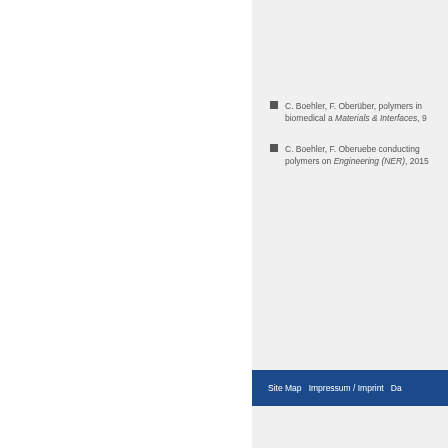C. Boehler, F. Oberüber, polymers in biomedical a Materials & Interfaces, 9
C. Boehler, F. Oberuebe conducting polymers on Engineering (NER), 2015
Site Map  Impressum / Imprint  Da